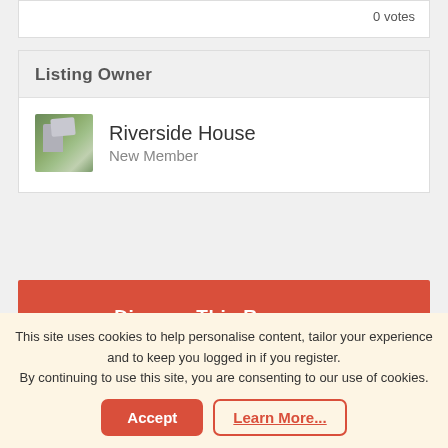0 votes
Listing Owner
Riverside House
New Member
Discuss This Resource
Our Facebook...
This site uses cookies to help personalise content, tailor your experience and to keep you logged in if you register.
By continuing to use this site, you are consenting to our use of cookies.
Accept
Learn More...